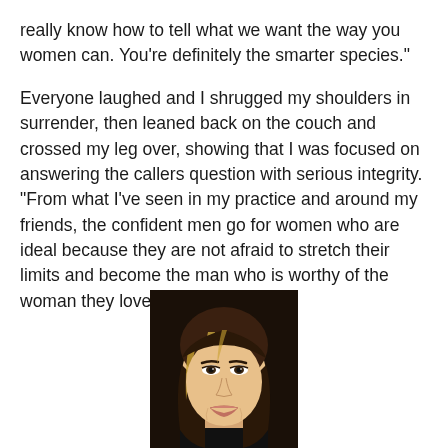really know how to tell what we want the way you women can. You're definitely the smarter species."

Everyone laughed and I shrugged my shoulders in surrender, then leaned back on the couch and crossed my leg over, showing that I was focused on answering the callers question with serious integrity. “From what I’ve seen in my practice and around my friends, the confident men go for women who are ideal because they are not afraid to stretch their limits and become the man who is worthy of the woman they love.”
[Figure (photo): Portrait photo of an Asian woman with straight brown hair highlighted with blonde streaks, wearing a black top, smiling slightly, facing the camera.]